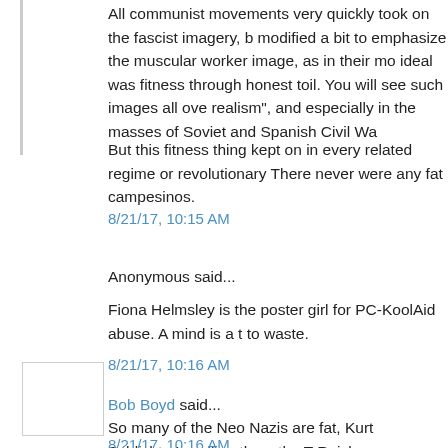All communist movements very quickly took on the fascist imagery, b modified a bit to emphasize the muscular worker image, as in their mo ideal was fitness through honest toil. You will see such images all ove realism", and especially in the masses of Soviet and Spanish Civil Wa
But this fitness thing kept on in every related regime or revolutionary There never were any fat campesinos.
8/21/17, 10:15 AM
Anonymous said...
Fiona Helmsley is the poster girl for PC-KoolAid abuse. A mind is a t to waste.
8/21/17, 10:16 AM
Bob Boyd said...
So many of the Neo Nazis are fat, Kurt Schlichter's calling them the T Reich
8/21/17, 10:16 AM